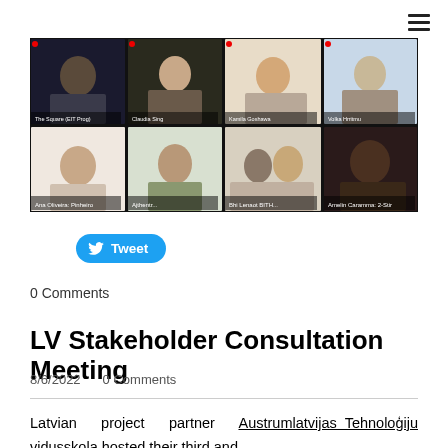[Figure (screenshot): Screenshot of a video conference call with 8 participants arranged in two rows of four, with name labels visible on each tile.]
Tweet
0 Comments
LV Stakeholder Consultation Meeting
8/6/2022   0 Comments
Latvian project partner Austrumlatvijas Tehnoloģiju vidusskola hosted their third and